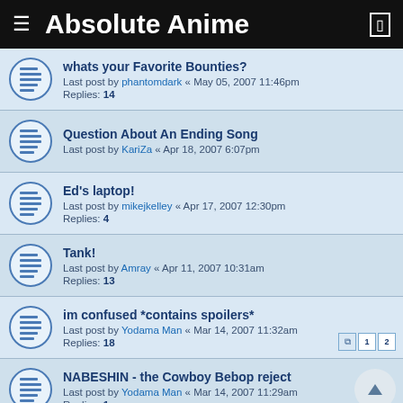Absolute Anime
whats your Favorite Bounties?
Last post by phantomdark « May 05, 2007 11:46pm
Replies: 14
Question About An Ending Song
Last post by KariZa « Apr 18, 2007 6:07pm
Ed's laptop!
Last post by mikejkelley « Apr 17, 2007 12:30pm
Replies: 4
Tank!
Last post by Amray « Apr 11, 2007 10:31am
Replies: 13
im confused *contains spoilers*
Last post by Yodama Man « Mar 14, 2007 11:32am
Replies: 18
NABESHIN - the Cowboy Bebop reject
Last post by Yodama Man « Mar 14, 2007 11:29am
Replies: 1
prairie oyster
Last post by Yodama Man « Mar 10, 2007 2:18pm
Replies: 14